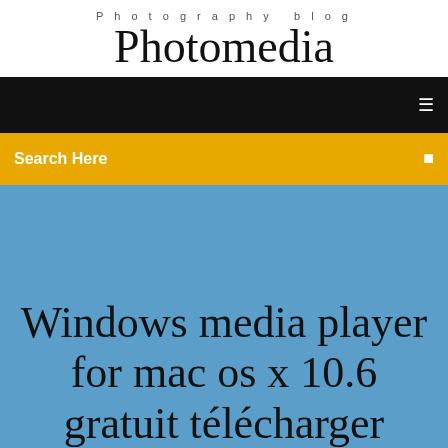Photography blog
Photomedia
[Figure (other): Black navigation bar with a small white icon on the right]
[Figure (other): Yellow/amber search bar with 'Search Here' text and a small white icon on the right]
Windows media player for mac os x 10.6 gratuit télécharger